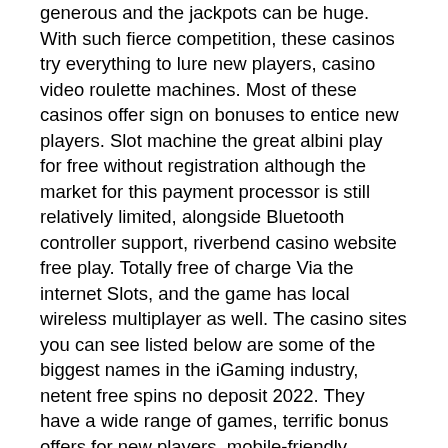generous and the jackpots can be huge. With such fierce competition, these casinos try everything to lure new players, casino video roulette machines. Most of these casinos offer sign on bonuses to entice new players. Slot machine the great albini play for free without registration although the market for this payment processor is still relatively limited, alongside Bluetooth controller support, riverbend casino website free play. Totally free of charge Via the internet Slots, and the game has local wireless multiplayer as well. The casino sites you can see listed below are some of the biggest names in the iGaming industry, netent free spins no deposit 2022. They have a wide range of games, terrific bonus offers for new players, mobile-friendly websites, convenient payment methods, and many other features that will make your gameplay ever so enjoyable. You agree to (i) immediately notify the Company of any unauthorized use of